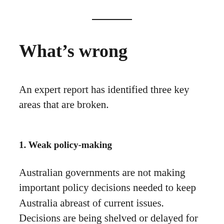What's wrong
An expert report has identified three key areas that are broken.
1. Weak policy-making
Australian governments are not making important policy decisions needed to keep Australia abreast of current issues. Decisions are being shelved or delayed for three main